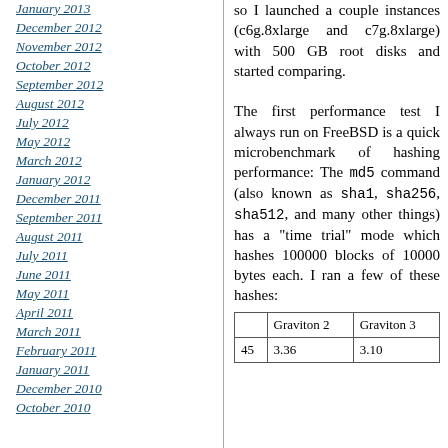January 2013
December 2012
November 2012
October 2012
September 2012
August 2012
July 2012
May 2012
March 2012
January 2012
December 2011
September 2011
August 2011
July 2011
June 2011
May 2011
April 2011
March 2011
February 2011
January 2011
December 2010
October 2010
so I launched a couple instances (c6g.8xlarge and c7g.8xlarge) with 500 GB root disks and started comparing.

The first performance test I always run on FreeBSD is a quick microbenchmark of hashing performance: The md5 command (also known as sha1, sha256, sha512, and many other things) has a "time trial" mode which hashes 100000 blocks of 10000 bytes each. I ran a few of these hashes:
|  | Graviton 2 | Graviton 3 |
| --- | --- | --- |
| 45 | 3.36 | 3.10 |